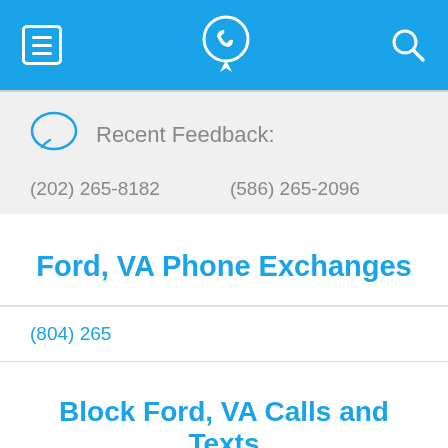Navigation bar with hamburger menu, phone-pin logo, and search icon
Recent Feedback:
(202) 265-8182    (586) 265-2096
Ford, VA Phone Exchanges
(804) 265
Block Ford, VA Calls and Texts